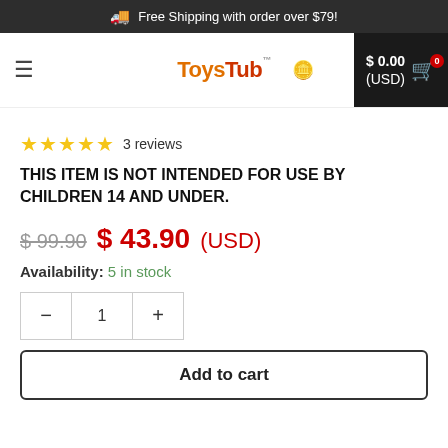Free Shipping with order over $79!
[Figure (logo): ToysTub logo with hamburger menu, coins icon, and cart showing $0.00 (USD)]
★★★★★ 3 reviews
THIS ITEM IS NOT INTENDED FOR USE BY CHILDREN 14 AND UNDER.
$ 99.90  $ 43.90 (USD)
Availability: 5 in stock
- 1 +
Add to cart